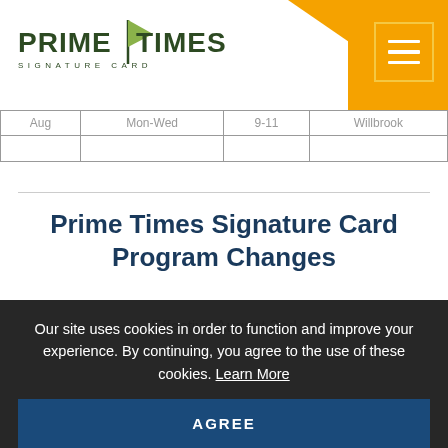[Figure (logo): Prime Times Signature Card logo with golf flag icon, orange diagonal shape and hamburger menu button in top right]
|  |  |  |  |
| --- | --- | --- | --- |
| Aug | Mon-Wed | 9-11 | Willbrook |
Prime Times Signature Card Program Changes
Effective August 2nd
All Afternoon Rounds without Points will start at Noon
Our site uses cookies in order to function and improve your experience. By continuing, you agree to the use of these cookies. Learn More
AGREE